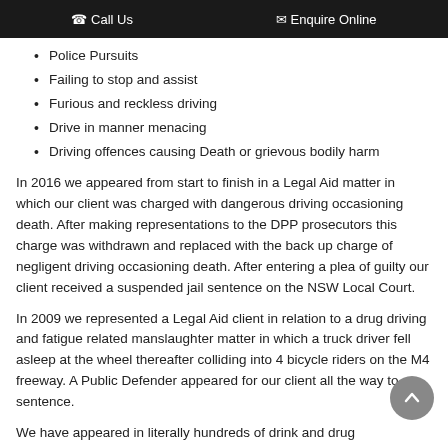Call Us   Enquire Online
Police Pursuits
Failing to stop and assist
Furious and reckless driving
Drive in manner menacing
Driving offences causing Death or grievous bodily harm
In 2016 we appeared from start to finish in a Legal Aid matter in which our client was charged with dangerous driving occasioning death. After making representations to the DPP prosecutors this charge was withdrawn and replaced with the back up charge of negligent driving occasioning death. After entering a plea of guilty our client received a suspended jail sentence on the NSW Local Court.
In 2009 we represented a Legal Aid client in relation to a drug driving and fatigue related manslaughter matter in which a truck driver fell asleep at the wheel thereafter colliding into 4 bicycle riders on the M4 freeway. A Public Defender appeared for our client all the way to sentence.
We have appeared in literally hundreds of drink and drug